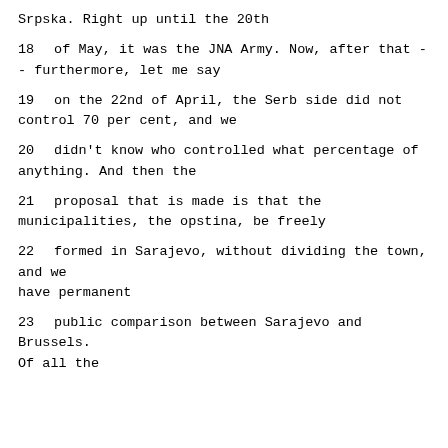Srpska.  Right up until the 20th
18     of May, it was the JNA Army.  Now, after that -
- furthermore, let me say
19     on the 22nd of April, the Serb side did not
control 70 per cent, and we
20     didn't know who controlled what percentage of
anything.  And then the
21     proposal that is made is that the
municipalities, the opstina, be freely
22     formed in Sarajevo, without dividing the town, and we
have permanent
23     public comparison between Sarajevo and Brussels.
Of all the